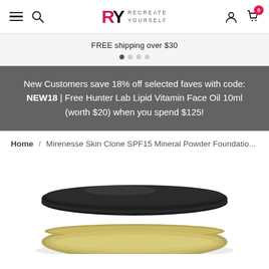RY RECREATE YOURSELF — navigation header with hamburger, search, logo, user icon, cart (0)
FREE shipping over $30
New Customers save 18% off selected faves with code: NEW18 | Free Hunter Lab Lipid Vitamin Face Oil 10ml (worth $20) when you spend $125!
Home / Mirenesse Skin Clone SPF15 Mineral Powder Foundation
[Figure (photo): Product photo of Mirenesse Skin Clone SPF15 Mineral Powder Foundation compact, showing the top of the round compact with black lid, against a white background.]